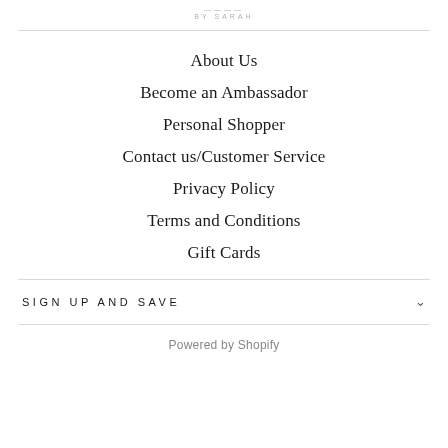BY SARAH
About Us
Become an Ambassador
Personal Shopper
Contact us/Customer Service
Privacy Policy
Terms and Conditions
Gift Cards
SIGN UP AND SAVE
Powered by Shopify